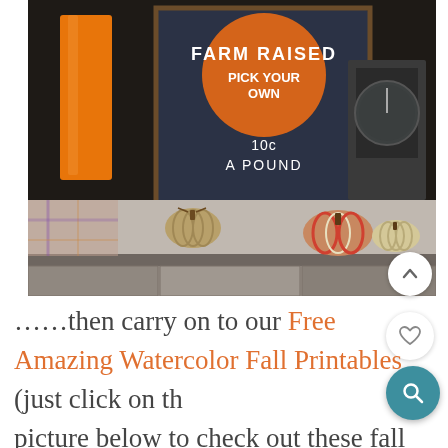[Figure (photo): Fall decorative scene on a granite countertop/ledge: orange candle on left, a dark chalkboard-style sign reading 'FARM RAISED PICK YOUR OWN 10c A POUND' with an orange circle graphic, an antique black scale on the right, and three twine/yarn pumpkins on the surface. Background is dark wood paneling.]
……then carry on to our Free Amazing Watercolor Fall Printables (just click on the picture below to check out these fall watercolors) ...